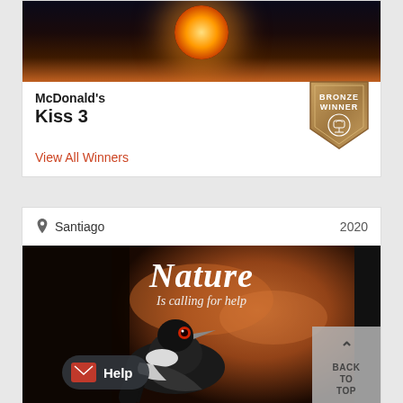[Figure (photo): Dark photo with glowing flame/ember in center, dark background with orange-red tones at bottom]
McDonald's
Kiss 3
[Figure (illustration): Bronze Winner badge/shield with award icon]
View All Winners
Santiago   2020
[Figure (photo): Nature Is calling for help - wildfire scene with a bird (magpie) in foreground against orange smoky background, with Back to Top button overlay and Help button]